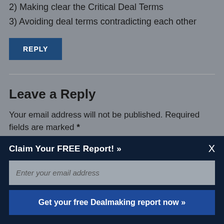2) Making clear the Critical Deal Terms
3) Avoiding deal terms contradicting each other
REPLY
Leave a Reply
Your email address will not be published. Required fields are marked *
Claim Your FREE Report! »
Enter your email address
Get your free Dealmaking report now »